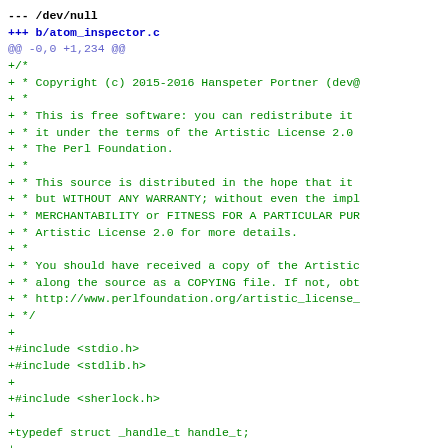--- /dev/null
+++ b/atom_inspector.c
@@ -0,0 +1,234 @@
+/*
+ * Copyright (c) 2015-2016 Hanspeter Portner (dev@
+ *
+ * This is free software: you can redistribute it
+ * it under the terms of the Artistic License 2.0
+ * The Perl Foundation.
+ *
+ * This source is distributed in the hope that it
+ * but WITHOUT ANY WARRANTY; without even the impl
+ * MERCHANTABILITY or FITNESS FOR A PARTICULAR PUR
+ * Artistic License 2.0 for more details.
+ *
+ * You should have received a copy of the Artistic
+ * along the source as a COPYING file. If not, obt
+ * http://www.perlfoundation.org/artistic_license_
+ */
+
+#include <stdio.h>
+#include <stdlib.h>
+
+#include <sherlock.h>
+
+typedef struct _handle_t handle_t;
+
+struct _handle_t {
+        LV2_URID_Map *map;
+        const LV2_Atom_Sequence *control_in;